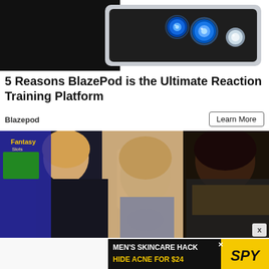[Figure (photo): Close-up photo of a dark device surface with glowing blue and white circular buttons/pods on what appears to be a BlazePod training device]
5 Reasons BlazePod is the Ultimate Reaction Training Platform
Blazepod
Learn More
[Figure (photo): Three women standing in what appears to be a casino or entertainment venue. The woman on the left has blonde hair and wears a black outfit. The woman in the center has light brown/blonde hair and wears a grey jacket. The woman on the right has dark skin, wears a yellow top and dark denim jacket. There is an arcade machine visible in the background on the left.]
[Figure (photo): Advertisement banner: MEN'S SKINCARE HACK / HIDE ACNE FOR $24 with SPY logo in yellow on black background]